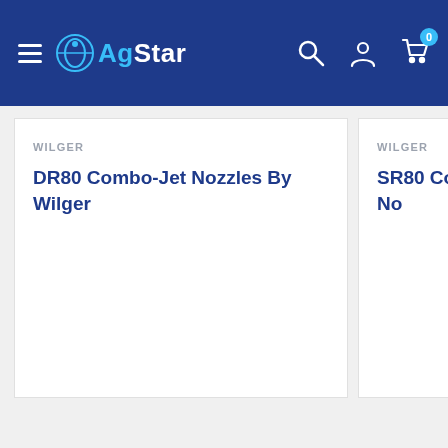AgStar
WILGER
DR80 Combo-Jet Nozzles By Wilger
WILGER
SR80 Combo-Jet No...